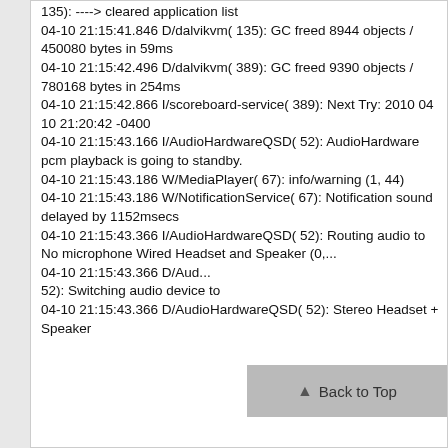135): ----> cleared application list
04-10 21:15:41.846 D/dalvikvm( 135): GC freed 8944 objects / 450080 bytes in 59ms
04-10 21:15:42.496 D/dalvikvm( 389): GC freed 9390 objects / 780168 bytes in 254ms
04-10 21:15:42.866 I/scoreboard-service( 389): Next Try: 2010 04 10 21:20:42 -0400
04-10 21:15:43.166 I/AudioHardwareQSD( 52): AudioHardware pcm playback is going to standby.
04-10 21:15:43.186 W/MediaPlayer( 67): info/warning (1, 44)
04-10 21:15:43.186 W/NotificationService( 67): Notification sound delayed by 1152msecs
04-10 21:15:43.366 I/AudioHardwareQSD( 52): Routing audio to No microphone Wired Headset and Speaker (0,...
04-10 21:15:43.366 D/Aud...
52): Switching audio device to
04-10 21:15:43.366 D/AudioHardwareQSD( 52): Stereo Headset + Speaker